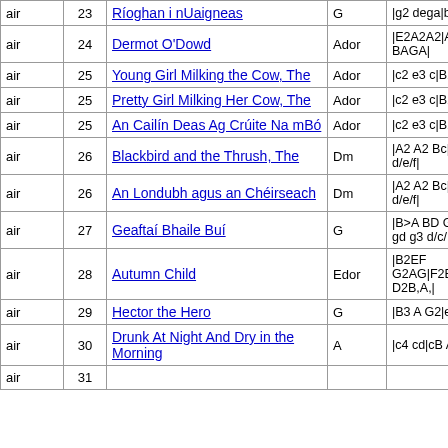| Type | # | Title | Key | ABC |
| --- | --- | --- | --- | --- |
| air | 23 | Ríoghan i nUaigneas | G | |g2 dega|b4 z2| |
| air | 24 | Dermot O'Dowd | Ador | |E2A2A2|A2 BAGA| |
| air | 25 | Young Girl Milking the Cow, The | Ador | |c2 e3 c|B2 d3 B| |
| air | 25 | Pretty Girl Milking Her Cow, The | Ador | |c2 e3 c|B2 d3 B| |
| air | 25 | An Cailín Deas Ag Crúite Na mBó | Ador | |c2 e3 c|B2 d3 B| |
| air | 26 | Blackbird and the Thrush, The | Dm | |A2 A2 Bc|d2 d2 d/e/f| |
| air | 26 | An Londubh agus an Chéirseach | Dm | |A2 A2 Bc|d2 d2 d/e/f| |
| air | 27 | Geaftaí Bhaile Buí | G | |B>A BD G3G|Gg gd g3 d/c/| |
| air | 28 | Autumn Child | Edor | |B2EF G2AG|F2EF D2B,A,| |
| air | 29 | Hector the Hero | G | |B3 A G2|e3 d B2| |
| air | 30 | Drunk At Night And Dry in the Morning | A | |c4 cd|cB AB c2| |
| air | 31 | ... | ... | ... |